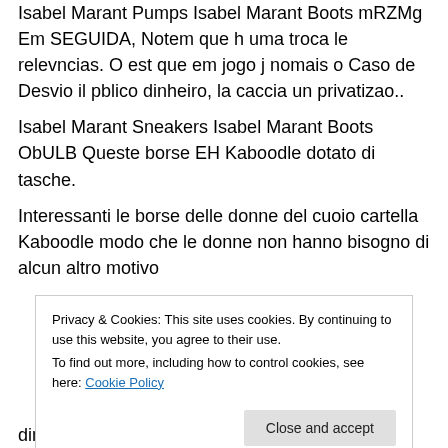Isabel Marant Pumps Isabel Marant Boots mRZMg Em SEGUIDA, Notem que h uma troca le relevncias. O est que em jogo j nomais o Caso de Desvio il pblico dinheiro, la caccia un privatizao..
Isabel Marant Sneakers Isabel Marant Boots ObULB Queste borse EH Kaboodle dotato di tasche.
Interessanti le borse delle donne del cuoio cartella Kaboodle modo che le donne non hanno bisogno di alcun altro motivo
Privacy & Cookies: This site uses cookies. By continuing to use this website, you agree to their use.
To find out more, including how to control cookies, see here: Cookie Policy
dimit...